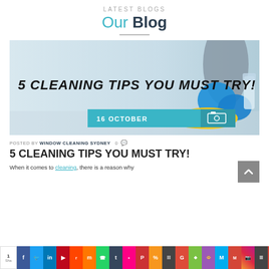LATEST BLOGS
Our Blog
[Figure (photo): Blog banner image showing person cleaning a surface with blue rubber gloves and a yellow cloth, with bold text overlay '5 CLEANING TIPS YOU MUST TRY!' and a cyan date bar showing '16 OCTOBER' with a photo icon]
POSTED BY WINDOW CLEANING SYDNEY   0
5 CLEANING TIPS YOU MUST TRY!
When it comes to cleaning, there is a reason why
[Figure (screenshot): Social sharing bar at bottom with share count '1' and multiple colored social media buttons: Facebook, Twitter, LinkedIn, Pinterest, Reddit, Mix, WhatsApp, Tumblr, Flipboard, Pocket, Scoop.it, Google, Evernote, Keewordz, Messenger, Gmail, Instagram, Buffer, Gmail, LinkedIn, Pinterest (Save)]